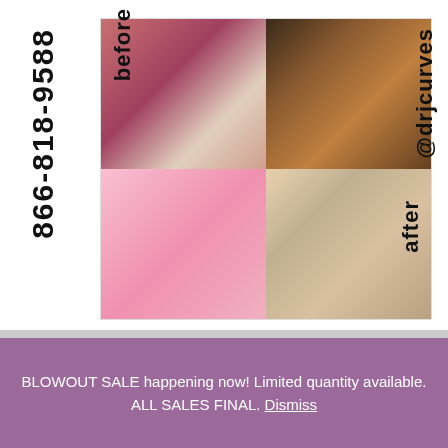[Figure (photo): Collage of four before/after photos of a woman showing body transformation. Top-left: before photo in bikini. Top-right: before photo in tiger-print outfit. Bottom-left: after photo in pink dress. Bottom-right: after photo in leopard-print outfit. Text overlaid: '866-818-9588' vertically on left, 'before' vertically across top photos, 'after' vertically across bottom photos, '@drjcurves' vertically on right.]
BLOWOUT SALE happening now! Limited quantity available. ALL SALES FINAL. Dismiss